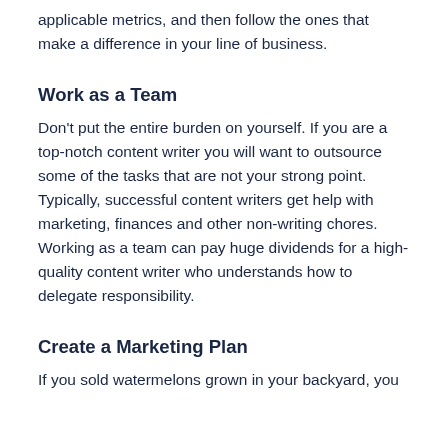applicable metrics, and then follow the ones that make a difference in your line of business.
Work as a Team
Don't put the entire burden on yourself. If you are a top-notch content writer you will want to outsource some of the tasks that are not your strong point. Typically, successful content writers get help with marketing, finances and other non-writing chores. Working as a team can pay huge dividends for a high-quality content writer who understands how to delegate responsibility.
Create a Marketing Plan
If you sold watermelons grown in your backyard, you